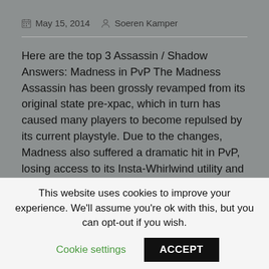May 15, 2014   Soeren Kamper
Here are the top 3 Assassin / Shadow Answers: Madness in PvP The Madness Assassin has been grossly revamped from its original state pre-xpac, which in turn has caused many players to become repulsed by its current playstyle. Due to the changes, Madness also suffered a dramatic hit in PvP, losing access to its Insta-Whirlwind utility and the loss of Maul procs which also goes to hurt its burst potential. In addition, the spec suffers from being far too easy to kill (having no true stealth benefits) with no real execution power to actually down targets beyond fluff damage, therefore making it seemingly a useless fighter on the field in comparison to what other classes / specs can
This website uses cookies to improve your experience. We'll assume you're ok with this, but you can opt-out if you wish.
Cookie settings
ACCEPT